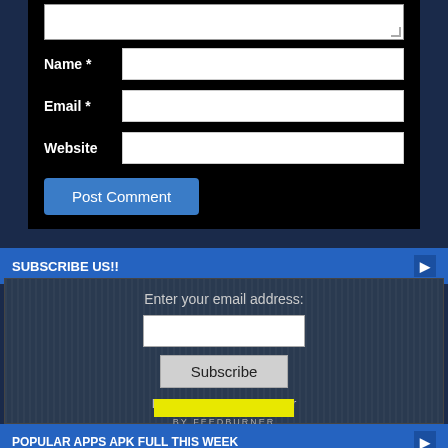[Figure (screenshot): Web form with Name, Email, Website fields and Post Comment button on black background]
SUBSCRIBE US!!
[Figure (screenshot): Email subscription widget with input field, Subscribe button, and Delivered by FeedBurner text]
POPULAR APPS APK FULL THIS WEEK